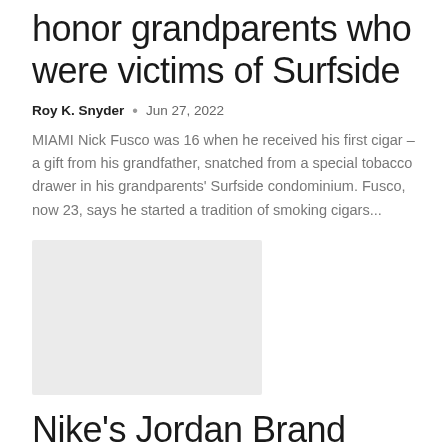honor grandparents who were victims of Surfside
Roy K. Snyder • Jun 27, 2022
MIAMI Nick Fusco was 16 when he received his first cigar – a gift from his grandfather, snatched from a special tobacco drawer in his grandparents' Surfside condominium. Fusco, now 23, says he started a tradition of smoking cigars...
[Figure (photo): Gray placeholder image for article photo]
Nike's Jordan Brand Becomes Howard University Collegiate